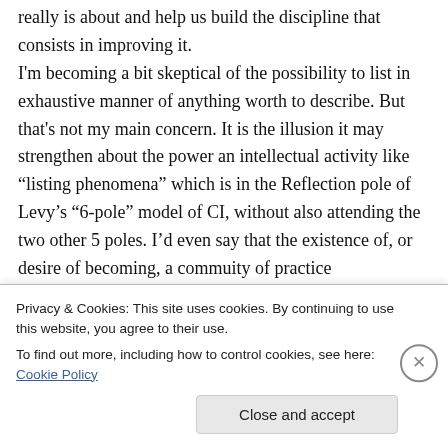really is about and help us build the discipline that consists in improving it. I'm becoming a bit skeptical of the possibility to list in exhaustive manner of anything worth to describe. But that's not my main concern. It is the illusion it may strengthen about the power an intellectual activity like “listing phenomena” which is in the Reflection pole of Levy’s “6-pole” model of CI, without also attending the two other 5 poles. I’d even say that the existence of, or desire of becoming, a commuity of practice
Privacy & Cookies: This site uses cookies. By continuing to use this website, you agree to their use.
To find out more, including how to control cookies, see here: Cookie Policy